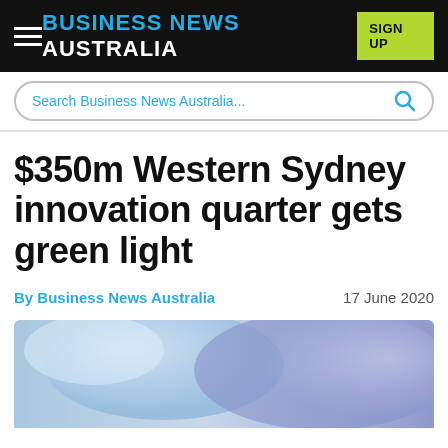BUSINESS NEWS AUSTRALIA
Search Business News Australia...
$350m Western Sydney innovation quarter gets green light
By Business News Australia   17 June 2020
[Figure (photo): Blurred blue/purple gradient image, likely an architectural or aerial photo related to the Western Sydney innovation quarter article]